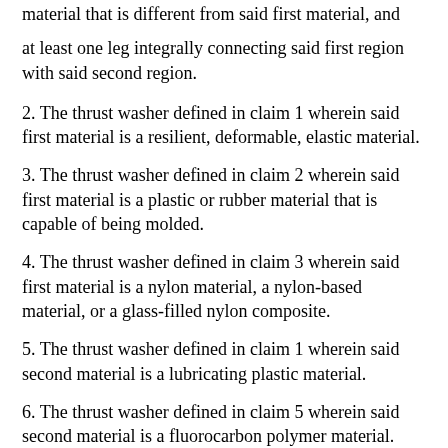material that is different from said first material, and
at least one leg integrally connecting said first region with said second region.
2. The thrust washer defined in claim 1 wherein said first material is a resilient, deformable, elastic material.
3. The thrust washer defined in claim 2 wherein said first material is a plastic or rubber material that is capable of being molded.
4. The thrust washer defined in claim 3 wherein said first material is a nylon material, a nylon-based material, or a glass-filled nylon composite.
5. The thrust washer defined in claim 1 wherein said second material is a lubricating plastic material.
6. The thrust washer defined in claim 5 wherein said second material is a fluorocarbon polymer material.
7. The thrust washer defined in claim 1 wherein a plurality of legs connect said first region with said second region.
8. The thrust washer defined in claim 7 wherein each of said legs is molded integrally with said inner and outer regions.